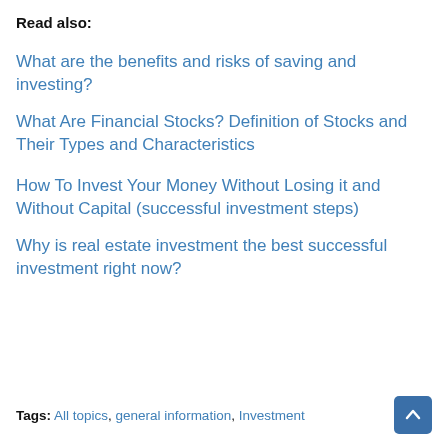Read also:
What are the benefits and risks of saving and investing?
What Are Financial Stocks? Definition of Stocks and Their Types and Characteristics
How To Invest Your Money Without Losing it and Without Capital (successful investment steps)
Why is real estate investment the best successful investment right now?
Tags: All topics, general information, Investment